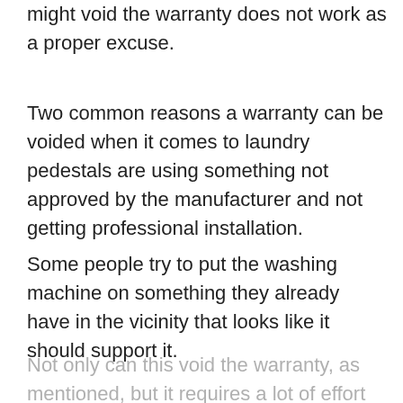might void the warranty does not work as a proper excuse.
Two common reasons a warranty can be voided when it comes to laundry pedestals are using something not approved by the manufacturer and not getting professional installation.
Some people try to put the washing machine on something they already have in the vicinity that looks like it should support it.
Not only can this void the warranty, as mentioned, but it requires a lot of effort to lift a